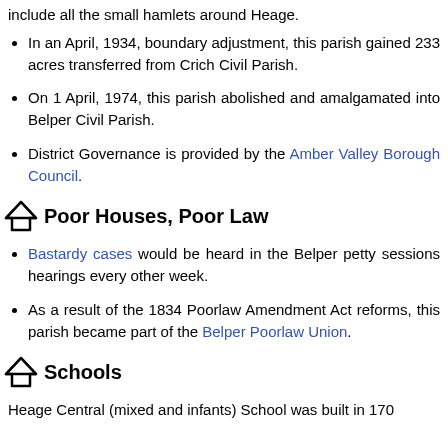include all the small hamlets around Heage.
In an April, 1934, boundary adjustment, this parish gained 233 acres transferred from Crich Civil Parish.
On 1 April, 1974, this parish abolished and amalgamated into Belper Civil Parish.
District Governance is provided by the Amber Valley Borough Council.
Poor Houses, Poor Law
Bastardy cases would be heard in the Belper petty sessions hearings every other week.
As a result of the 1834 Poorlaw Amendment Act reforms, this parish became part of the Belper Poorlaw Union.
Schools
Heage Central (mixed and infants) School was built in 170